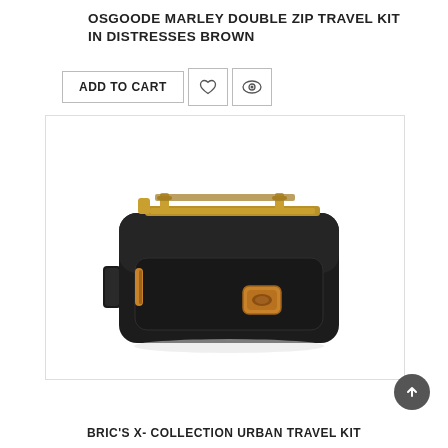OSGOODE MARLEY DOUBLE ZIP TRAVEL KIT IN DISTRESSES BROWN
[Figure (screenshot): Buttons row: ADD TO CART button, heart icon button, eye icon button]
[Figure (photo): Black nylon travel toiletry kit bag with tan leather zipper pull and logo patch, gold-tone zippers at top, and a handle strap on the left side.]
BRIC'S X- COLLECTION URBAN TRAVEL KIT